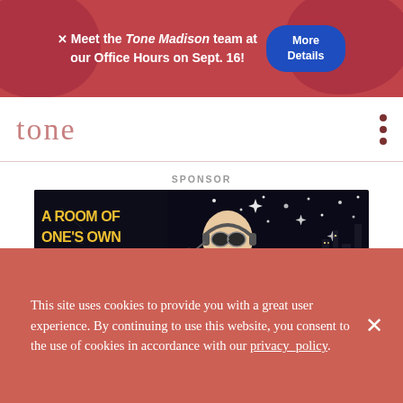× Meet the Tone Madison team at our Office Hours on Sept. 16! More Details
[Figure (logo): Tone Madison logo — stylized lowercase 'tone' in pinkish-red serif font]
SPONSOR
[Figure (illustration): A Room of One's Own Bookstore advertisement — black and white comic-style illustration of a woman with headphones at a control panel in space, with 'A ROOM OF ONE'S OWN BOOKSTORE' in bold yellow text on the left]
Weird Christmas greetings, with cheer to spare
BY CHRIS LAY • CULTURE • DECEMBER 14, 2018
This site uses cookies to provide you with a great user experience. By continuing to use this website, you consent to the use of cookies in accordance with our privacy_policy.